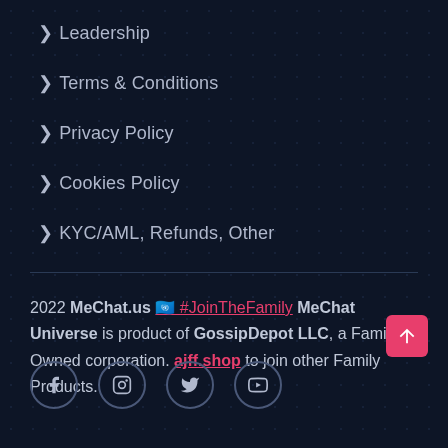> Leadership
> Terms & Conditions
> Privacy Policy
> Cookies Policy
> KYC/AML, Refunds, Other
2022 MeChat.us 🇺🇳 #JoinTheFamily MeChat Universe is product of GossipDepot LLC, a Family-Owned corporation. ajff.shop to join other Family Products.